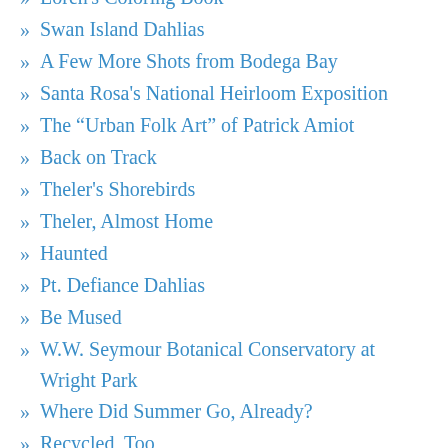Loren's Coloring Book
Swan Island Dahlias
A Few More Shots from Bodega Bay
Santa Rosa's National Heirloom Exposition
The “Urban Folk Art” of Patrick Amiot
Back on Track
Theler's Shorebirds
Theler, Almost Home
Haunted
Pt. Defiance Dahlias
Be Mused
W.W. Seymour Botanical Conservatory at Wright Park
Where Did Summer Go, Already?
Recycled, Too
Recycled